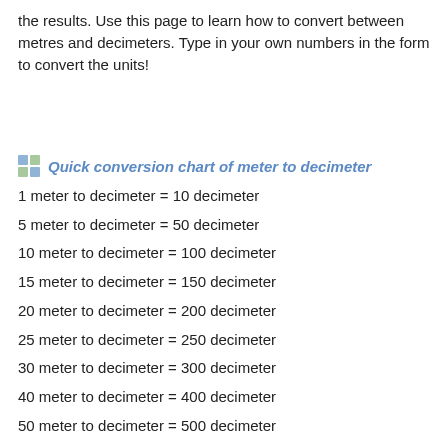the results. Use this page to learn how to convert between metres and decimeters. Type in your own numbers in the form to convert the units!
Quick conversion chart of meter to decimeter
1 meter to decimeter = 10 decimeter
5 meter to decimeter = 50 decimeter
10 meter to decimeter = 100 decimeter
15 meter to decimeter = 150 decimeter
20 meter to decimeter = 200 decimeter
25 meter to decimeter = 250 decimeter
30 meter to decimeter = 300 decimeter
40 meter to decimeter = 400 decimeter
50 meter to decimeter = 500 decimeter